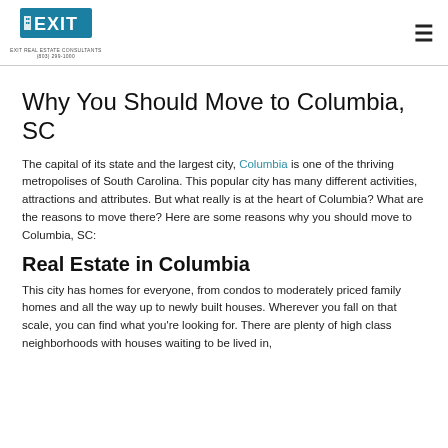EXIT REAL ESTATE CONSULTANTS (803) 299-1000
Why You Should Move to Columbia, SC
The capital of its state and the largest city, Columbia is one of the thriving metropolises of South Carolina. This popular city has many different activities, attractions and attributes. But what really is at the heart of Columbia? What are the reasons to move there? Here are some reasons why you should move to Columbia, SC:
Real Estate in Columbia
This city has homes for everyone, from condos to moderately priced family homes and all the way up to newly built houses. Wherever you fall on that scale, you can find what you're looking for. There are plenty of high class neighborhoods with houses waiting to be lived in,